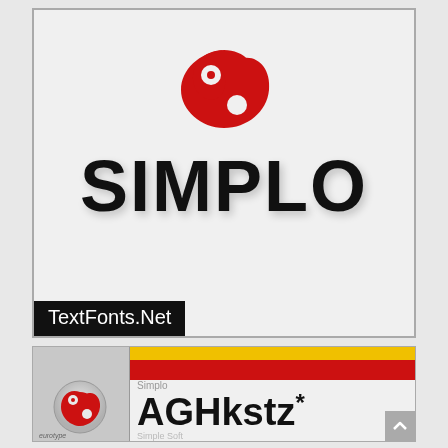[Figure (logo): Simplo font logo card with red swirl emblem and large bold SIMPLO text on light gray background, with TextFonts.Net black banner at bottom left]
[Figure (illustration): Simplo font product packaging showing yellow and red stripes at top, small circular logo on left panel, and large AGHkstz* sample text with Simplo label and Simple Soft subtitle]